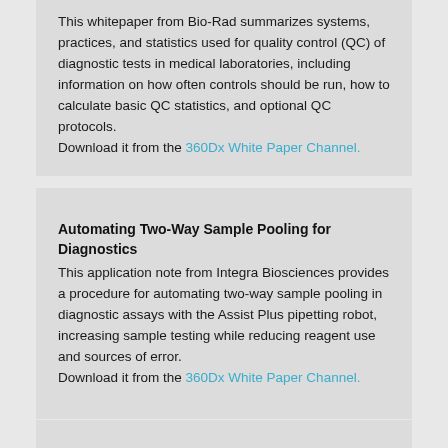This whitepaper from Bio-Rad summarizes systems, practices, and statistics used for quality control (QC) of diagnostic tests in medical laboratories, including information on how often controls should be run, how to calculate basic QC statistics, and optional QC protocols. Download it from the 360Dx White Paper Channel.
Automating Two-Way Sample Pooling for Diagnostics
This application note from Integra Biosciences provides a procedure for automating two-way sample pooling in diagnostic assays with the Assist Plus pipetting robot, increasing sample testing while reducing reagent use and sources of error. Download it from the 360Dx White Paper Channel.